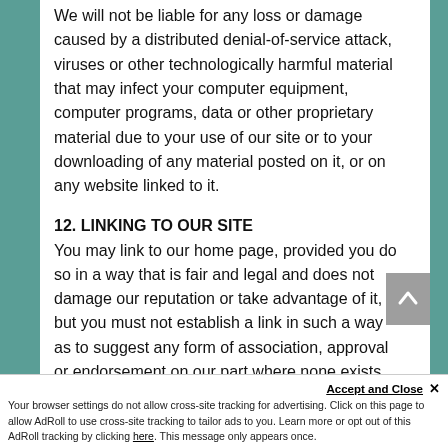We will not be liable for any loss or damage caused by a distributed denial-of-service attack, viruses or other technologically harmful material that may infect your computer equipment, computer programs, data or other proprietary material due to your use of our site or to your downloading of any material posted on it, or on any website linked to it.
12. LINKING TO OUR SITE
You may link to our home page, provided you do so in a way that is fair and legal and does not damage our reputation or take advantage of it, but you must not establish a link in such a way as to suggest any form of association, approval or endorsement on our part where none exists.
You must not establish a link from any website that is not owned by you.
Our site must not be framed on any other site, nor may you create a link to any part of our site other than the home page.
We reserve the right to withdraw linking permission without notice.
Accept and Close ✕
Your browser settings do not allow cross-site tracking for advertising. Click on this page to allow AdRoll to use cross-site tracking to tailor ads to you. Learn more or opt out of this AdRoll tracking by clicking here. This message only appears once.